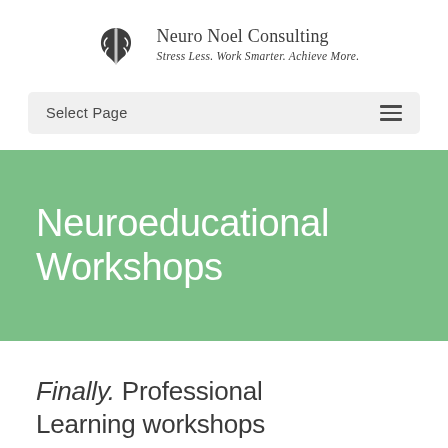[Figure (logo): Brain/mind logo icon for Neuro Noel Consulting with company name and tagline]
Select Page
Neuroeducational Workshops
Finally. Professional Learning workshops